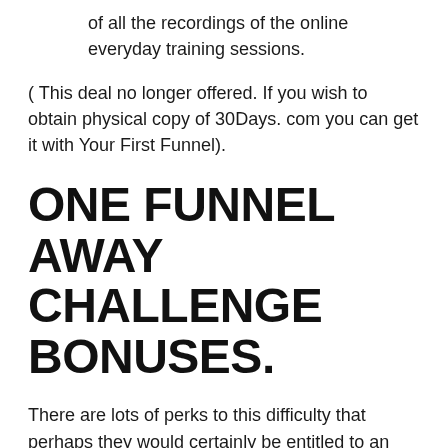of all the recordings of the online everyday training sessions.
( This deal no longer offered. If you wish to obtain physical copy of 30Days. com you can get it with Your First Funnel).
ONE FUNNEL AWAY CHALLENGE BONUSES.
There are lots of perks to this difficulty that perhaps they would certainly be entitled to an one-of-a-kind blog post of their very own.
By registering in the One Funnel Away